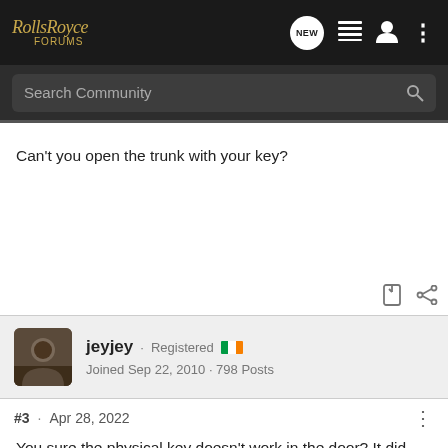Rolls Royce FORUMS
Search Community
Can't you open the trunk with your key?
jeyjey · Registered 🇮🇪 Joined Sep 22, 2010 · 798 Posts
#3 · Apr 28, 2022
You sure the physical key doesn't work in the door? It did when I had this luxury (#5 Autumn)